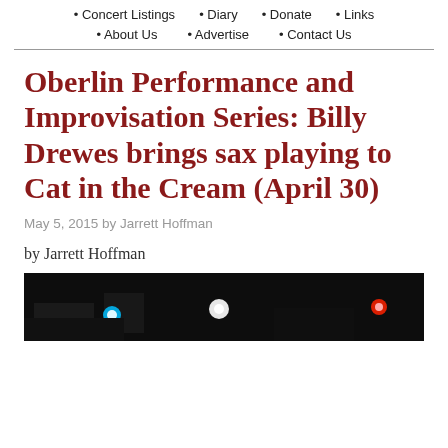• Concert Listings • Diary • Donate • Links
• About Us • Advertise • Contact Us
Oberlin Performance and Improvisation Series: Billy Drewes brings sax playing to Cat in the Cream (April 30)
May 5, 2015 by Jarrett Hoffman
by Jarrett Hoffman
[Figure (photo): Dark stage photo with colorful stage lights (cyan, white, red) visible in the background]